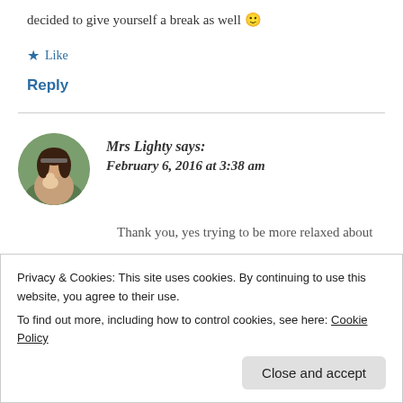decided to give yourself a break as well 🙂
★ Like
Reply
Mrs Lighty says: February 6, 2016 at 3:38 am
[Figure (photo): Circular avatar photo of Mrs Lighty, a woman with long dark hair holding a baby outdoors]
Thank you, yes trying to be more relaxed about
Privacy & Cookies: This site uses cookies. By continuing to use this website, you agree to their use.
To find out more, including how to control cookies, see here: Cookie Policy
Close and accept